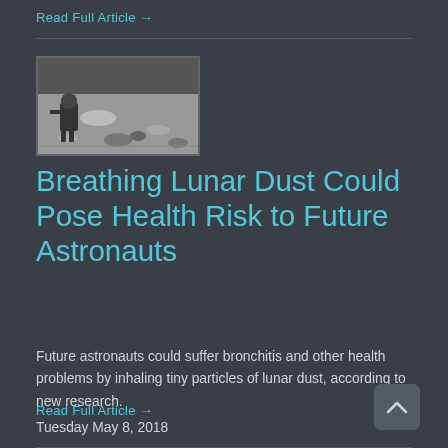Read Full Article →
[Figure (photo): Black and white photograph of an astronaut on the lunar surface]
Breathing Lunar Dust Could Pose Health Risk to Future Astronauts
Future astronauts could suffer bronchitis and other health problems by inhaling tiny particles of lunar dust, according to new research.
Tuesday May 8, 2018
Read Full Article →